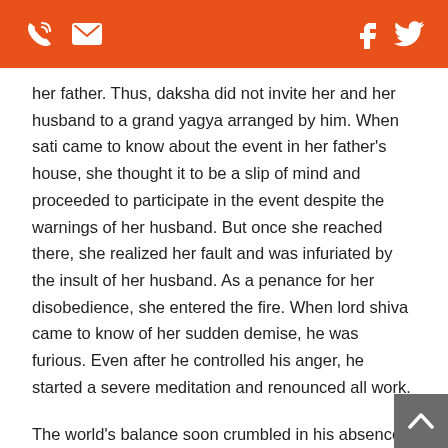Phone | Email | Facebook | Twitter icons
her father. Thus, daksha did not invite her and her husband to a grand yagya arranged by him. When sati came to know about the event in her father's house, she thought it to be a slip of mind and proceeded to participate in the event despite the warnings of her husband. But once she reached there, she realized her fault and was infuriated by the insult of her husband. As a penance for her disobedience, she entered the fire. When lord shiva came to know of her sudden demise, he was furious. Even after he controlled his anger, he started a severe meditation and renounced all work.
The world's balance soon crumbled in his absence and sati took rebirth as goddess parvati to try and win lord shiva's heart and wake him up from his trance. She tried all ways to get the attention of shiva. When she had exhausted all her feminine ways, she invoked the help of kamadava, the indian cupid-god who agreed to help her in the cause of the world despite the